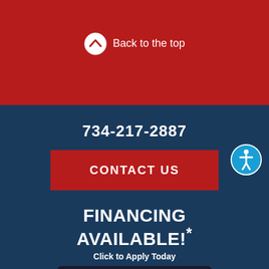Back to the top
734-217-2887
CONTACT US
FINANCING AVAILABLE!*
Click to Apply Today
[Figure (other): AAMCO Synchrony Car Care credit card]